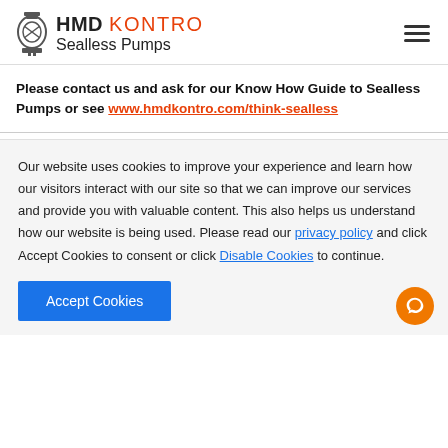HMD KONTRO Sealless Pumps
Please contact us and ask for our Know How Guide to Sealless Pumps or see www.hmdkontro.com/think-sealless
Our website uses cookies to improve your experience and learn how our visitors interact with our site so that we can improve our services and provide you with valuable content. This also helps us understand how our website is being used. Please read our privacy policy and click Accept Cookies to consent or click Disable Cookies to continue.